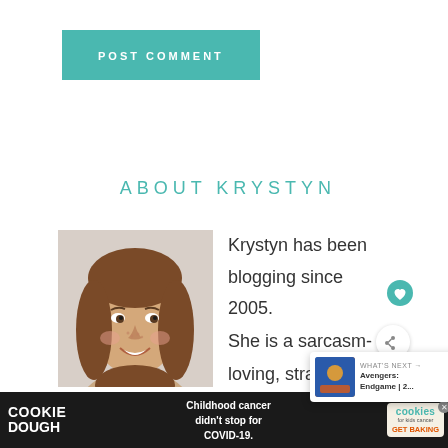[Figure (other): POST COMMENT button in teal/green color]
ABOUT KRYSTYN
[Figure (photo): Profile photo of Krystyn, a woman with long brown hair, smiling]
Krystyn has been blogging since 2005. She is a sarcasm-loving, straight shooting, jeans and t-shirts wearing, wife
[Figure (other): What's Next overlay showing Avengers: Endgame | 2...]
[Figure (other): Cookie Dough advertisement banner - Childhood cancer didn't stop for COVID-19. Cookies for kids cancer. GET BAKING.]